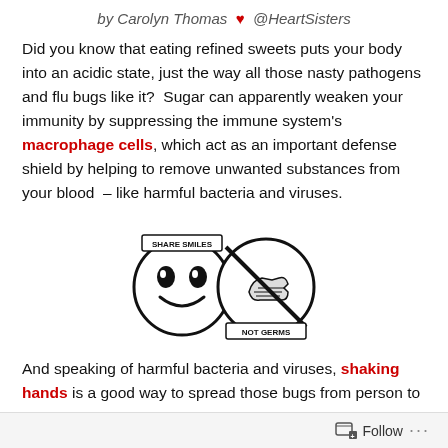by Carolyn Thomas ♥ @HeartSisters
Did you know that eating refined sweets puts your body into an acidic state, just the way all those nasty pathogens and flu bugs like it?  Sugar can apparently weaken your immunity by suppressing the immune system's macrophage cells, which act as an important defense shield by helping to remove unwanted substances from your blood  – like harmful bacteria and viruses.
[Figure (illustration): Cartoon illustration with two circular icons: a smiling face icon labeled 'SHARE SMILES' and a handshake with a prohibition symbol labeled 'NOT GERMS']
And speaking of harmful bacteria and viruses, shaking hands is a good way to spread those bugs from person to